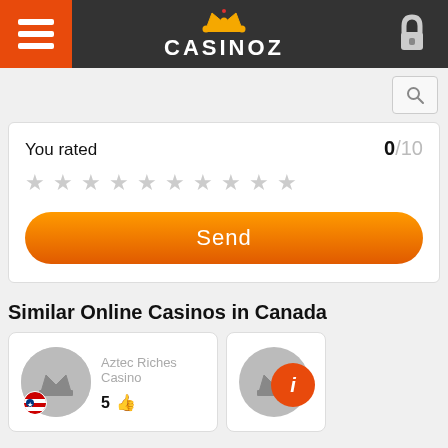[Figure (screenshot): Casinoz website header with hamburger menu on the left (orange background), Casinoz logo with crown in the center, and a lock icon on the right (dark background).]
[Figure (other): Search icon button in the top right area of the page content.]
You rated
0/10
[Figure (other): Ten empty gray star rating icons in a row.]
Send
Similar Online Casinos in Canada
Aztec Riches Casino
5